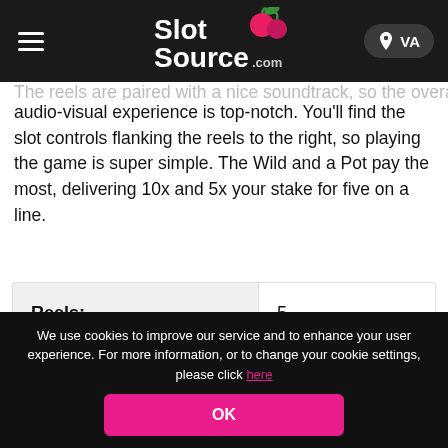SlotSource.com — VA
audio-visual experience is top-notch. You'll find the slot controls flanking the reels to the right, so playing the game is super simple. The Wild and a Pot pay the most, delivering 10x and 5x your stake for five on a line.
| Label | Value |
| --- | --- |
| Reels: | 5 |
| Rows: | 3 |
We use cookies to improve our service and to enhance your user experience. For more information, or to change your cookie settings, please click here